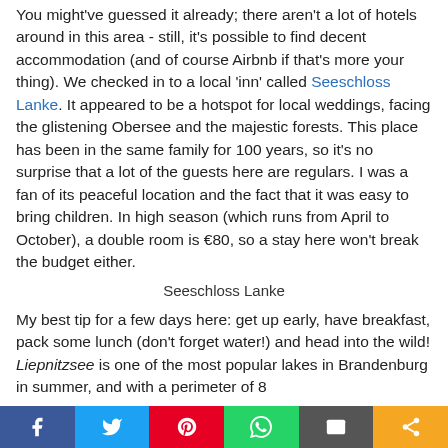You might've guessed it already; there aren't a lot of hotels around in this area - still, it's possible to find decent accommodation (and of course Airbnb if that's more your thing). We checked in to a local 'inn' called Seeschloss Lanke. It appeared to be a hotspot for local weddings, facing the glistening Obersee and the majestic forests. This place has been in the same family for 100 years, so it's no surprise that a lot of the guests here are regulars. I was a fan of its peaceful location and the fact that it was easy to bring children. In high season (which runs from April to October), a double room is €80, so a stay here won't break the budget either.
Seeschloss Lanke
My best tip for a few days here: get up early, have breakfast, pack some lunch (don't forget water!) and head into the wild! Liepnitzsee is one of the most popular lakes in Brandenburg in summer, and with a perimeter of 8...
Social share bar: Facebook, Twitter, Pinterest, WhatsApp, Email, Share